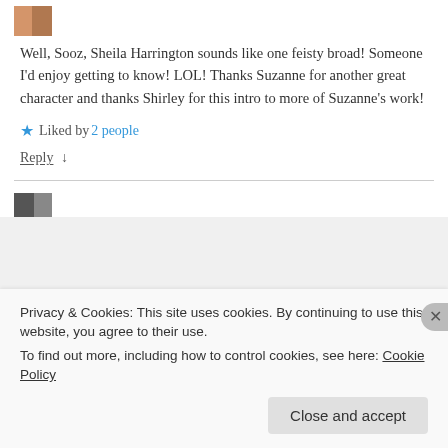[Figure (photo): Small avatar/profile photo thumbnail at top left]
Well, Sooz, Sheila Harrington sounds like one feisty broad! Someone I’d enjoy getting to know! LOL! Thanks Suzanne for another great character and thanks Shirley for this intro to more of Suzanne’s work!
★ Liked by 2 people
Reply ↓
[Figure (photo): Small avatar/profile photo thumbnail]
Privacy & Cookies: This site uses cookies. By continuing to use this website, you agree to their use.
To find out more, including how to control cookies, see here: Cookie Policy
Close and accept